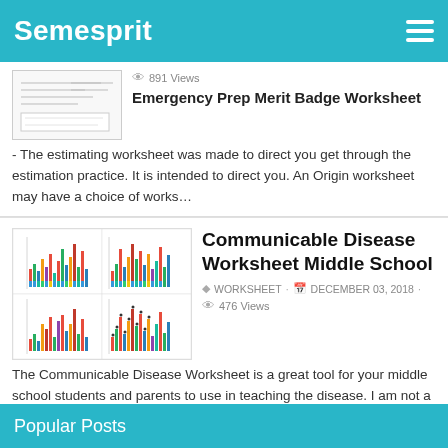Semesprit
891 Views
Emergency Prep Merit Badge Worksheet
The estimating worksheet was made to direct you get through the estimation practice. It is intended to direct you. An Origin worksheet may have a choice of works…
[Figure (illustration): Thumbnail image of Emergency Prep Merit Badge Worksheet document]
Communicable Disease Worksheet Middle School
WORKSHEET · DECEMBER 03, 2018 · 476 Views
The Communicable Disease Worksheet is a great tool for your middle school students and parents to use in teaching the disease. I am not a scientist but I have had plenty of experience in infectious di…
[Figure (illustration): Thumbnail image showing colorful bar charts for Communicable Disease Worksheet Middle School]
Popular Posts